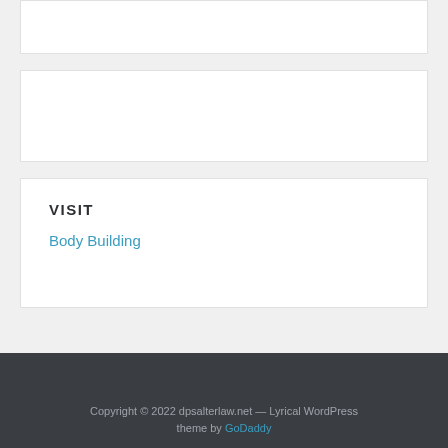VISIT
Body Building
Copyright © 2022 dpsalterlaw.net — Lyrical WordPress theme by GoDaddy